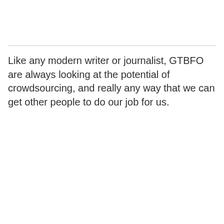Like any modern writer or journalist, GTBFO are always looking at the potential of crowdsourcing, and really any way that we can get other people to do our job for us.